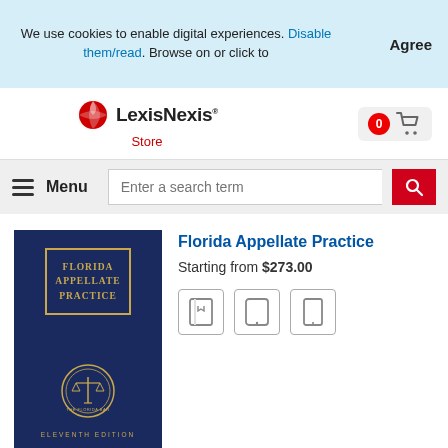We use cookies to enable digital experiences. Disable them/read. Browse on or click to
Agree
[Figure (logo): LexisNexis Store logo with red fan/globe icon]
[Figure (other): Shopping cart icon with badge showing 0]
Menu
Enter a search term
[Figure (photo): Book cover: Florida Appellate Practice, Eleventh Edition, dark navy blue cover with gold title box and Florida Bar seal]
Florida Appellate Practice
Starting from $273.00
[Figure (other): Three format icons: book/print, tablet, and small tablet/phone]